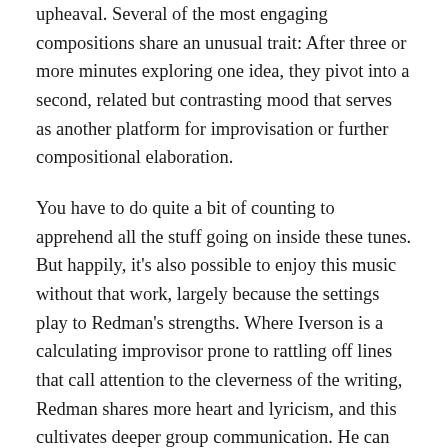upheaval. Several of the most engaging compositions share an unusual trait: After three or more minutes exploring one idea, they pivot into a second, related but contrasting mood that serves as another platform for improvisation or further compositional elaboration.
You have to do quite a bit of counting to apprehend all the stuff going on inside these tunes. But happily, it's also possible to enjoy this music without that work, largely because the settings play to Redman's strengths. Where Iverson is a calculating improvisor prone to rattling off lines that call attention to the cleverness of the writing, Redman shares more heart and lyricism, and this cultivates deeper group communication. He can handle all the tricky switchbacks embedded in the music — his own group, James Farm, aspires to similar meta jamming — but never allows